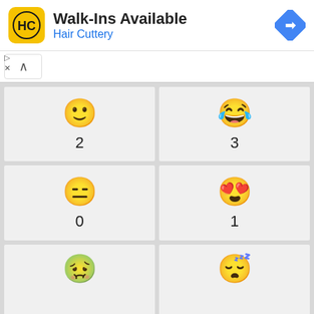[Figure (screenshot): Advertisement banner for Hair Cuttery showing Walk-Ins Available with logo and navigation icon]
[Figure (screenshot): Grid of emoji reaction icons with counts: slightly smiling face (2), laughing with tears (3), expressionless face (0), heart eyes (1), nauseated face (partial), sleeping face (partial)]